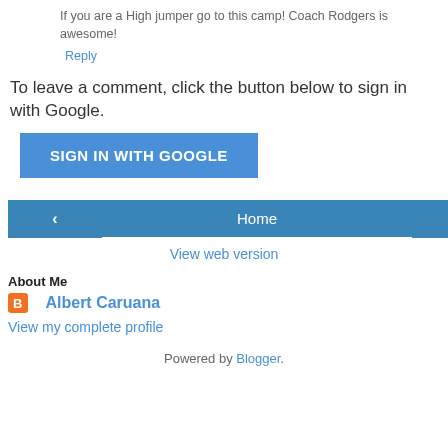If you are a High jumper go to this camp! Coach Rodgers is awesome!
Reply
To leave a comment, click the button below to sign in with Google.
[Figure (screenshot): Blue 'SIGN IN WITH GOOGLE' button]
[Figure (screenshot): Navigation buttons: left arrow, Home, right arrow]
View web version
About Me
Albert Caruana
View my complete profile
Powered by Blogger.